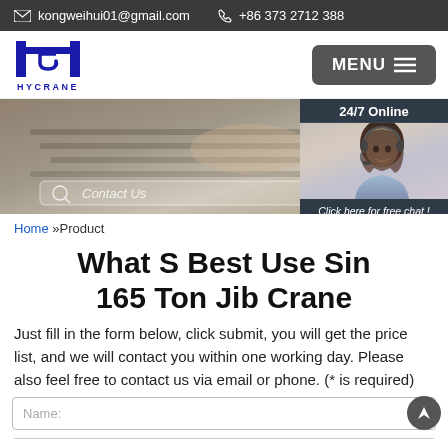kongweihui01@gmail.com  +86 373 2712 388
[Figure (logo): HYCRANE company logo with blue crane hook H symbol]
[Figure (screenshot): Hero banner image showing hands on laptop keyboard with search bar overlay and Contact Us text]
[Figure (photo): 24/7 Online widget showing woman with headset smiling, with 'Click here for free chat!' and orange QUOTATION button]
Home »Product
What S Best Use Sin 165 Ton Jib Crane
Just fill in the form below, click submit, you will get the price list, and we will contact you within one working day. Please also feel free to contact us via email or phone. (* is required)
Name: